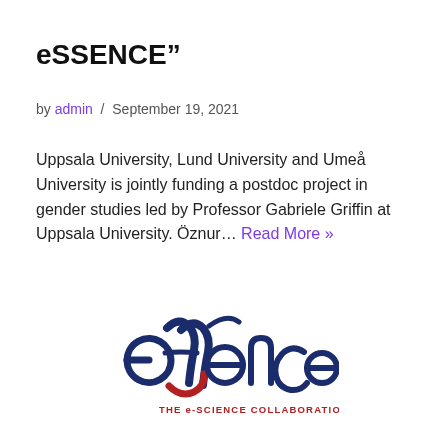eSSENCE"
by admin / September 19, 2021
Uppsala University, Lund University and Umeå University is jointly funding a postdoc project in gender studies led by Professor Gabriele Griffin at Uppsala University. Öznur… Read More »
[Figure (logo): eSSENCE – The e-Science Collaboration logo with stylized double-f letters in dark blue and red curved lines, and subtitle THE e-SCIENCE COLLABORATION in red]